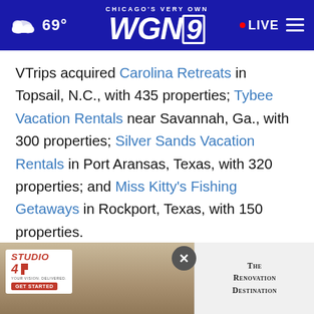CHICAGO'S VERY OWN WGN9 | 69° | LIVE
VTrips acquired Carolina Retreats in Topsail, N.C., with 435 properties; Tybee Vacation Rentals near Savannah, Ga., with 300 properties; Silver Sands Vacation Rentals in Port Aransas, Texas, with 320 properties; and Miss Kitty's Fishing Getaways in Rockport, Texas, with 150 properties.
These companies joined the VTrips fami... follo... comp...
[Figure (screenshot): Studio 41 advertisement with people in background, GET STARTED button, and The Renovation Destination text on the right side]